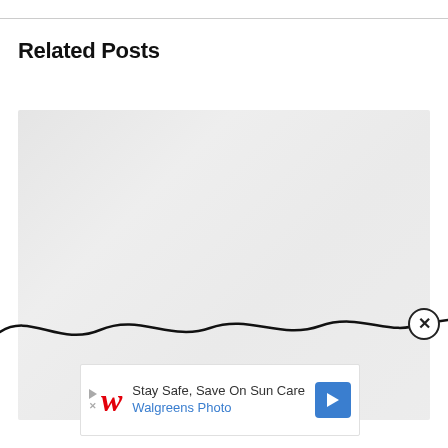Related Posts
[Figure (photo): Faded/washed out photo used as related posts thumbnail image]
[Figure (infographic): Advertisement banner: Stay Safe, Save On Sun Care - Walgreens Photo with play button and directional arrow badge]